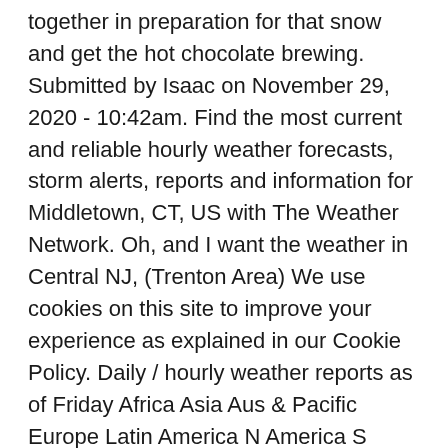together in preparation for that snow and get the hot chocolate brewing. Submitted by Isaac on November 29, 2020 - 10:42am. Find the most current and reliable hourly weather forecasts, storm alerts, reports and information for Middletown, CT, US with The Weather Network. Oh, and I want the weather in Central NJ, (Trenton Area) We use cookies on this site to improve your experience as explained in our Cookie Policy. Daily / hourly weather reports as of Friday Africa Asia Aus & Pacific Europe Latin America N America S America Mid East Short and medium range local weather forecasts are selected by using the Place or postcode selector at the top of this page. Precipitation will be near normal, with mostly below-normal snowfall. For more detail, we hope you'll pick up a copy of our annual book—The 2021 Old Farmer's Almanac!.Stay cozy! A Risky Day is not a direct prediction of precipitation (Rain/Snow) but